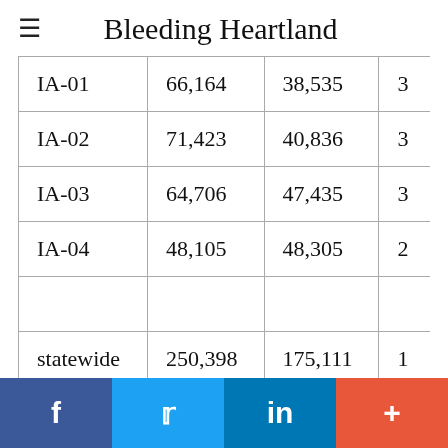Bleeding Heartland
| IA-01 | 66,164 | 38,535 | 3… |
| IA-02 | 71,423 | 40,836 | 3… |
| IA-03 | 64,706 | 47,435 | 3… |
| IA-04 | 48,105 | 48,305 | 2… |
|  |  |  |  |
| statewide | 250,398 | 175,111 | 1… |
f  t  in  +